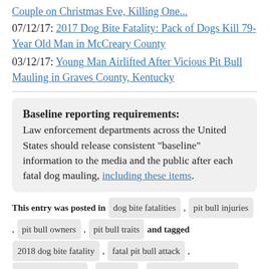Couple on Christmas Eve, Killing One...
07/12/17: 2017 Dog Bite Fatality: Pack of Dogs Kill 79-Year Old Man in McCreary County
03/12/17: Young Man Airlifted After Vicious Pit Bull Mauling in Graves County, Kentucky
Baseline reporting requirements: Law enforcement departments across the United States should release consistent "baseline" information to the media and the public after each fatal dog mauling, including these items.
This entry was posted in dog bite fatalities , pit bull injuries , pit bull owners , pit bull traits and tagged 2018 dog bite fatality , fatal pit bull attack , heart attack injury , kentucky , pit bull dog aggression